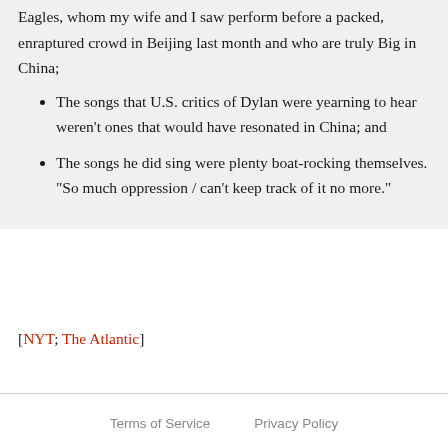Eagles, whom my wife and I saw perform before a packed, enraptured crowd in Beijing last month and who are truly Big in China;
The songs that U.S. critics of Dylan were yearning to hear weren't ones that would have resonated in China; and
The songs he did sing were plenty boat-rocking themselves. "So much oppression / can't keep track of it no more."
[NYT; The Atlantic]
Terms of Service    Privacy Policy